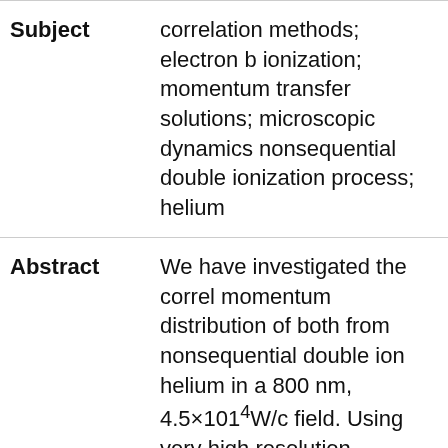| Field | Content |
| --- | --- |
| Subject | correlation methods; electron b ionization; momentum transfer solutions; microscopic dynamics nonsequential double ionization process; helium |
| Abstract | We have investigated the correl momentum distribution of both from nonsequential double ion helium in a 800 nm, 4.5×1014W/c field. Using very high resolution techniques, we find a so-far unc fingerlike structure in the corre momentum distribution. The st be interpreted as a signature of microscopic dynamics in the re |